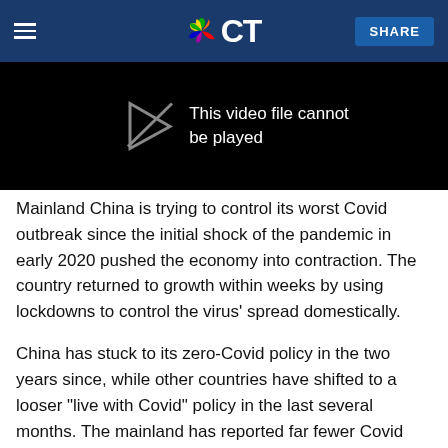NBC CT
[Figure (screenshot): Black video player placeholder with text 'This video file cannot be played' and a broken video icon]
Mainland China is trying to control its worst Covid outbreak since the initial shock of the pandemic in early 2020 pushed the economy into contraction. The country returned to growth within weeks by using lockdowns to control the virus' spread domestically.
China has stuck to its zero-Covid policy in the two years since, while other countries have shifted to a looser "live with Covid" policy in the last several months. The mainland has reported far fewer Covid cases or deaths relative to other major countries.